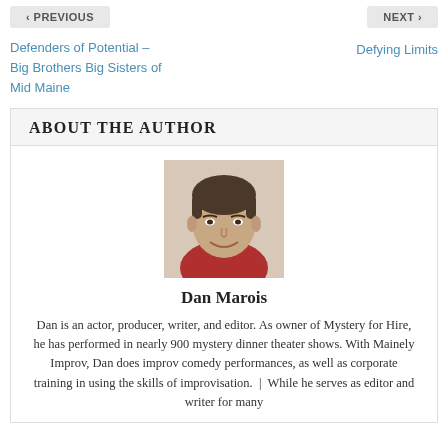< PREVIOUS    NEXT >
Defenders of Potential – Big Brothers Big Sisters of Mid Maine
Defying Limits
ABOUT THE AUTHOR
[Figure (photo): Headshot of Dan Marois, a middle-aged man with dark hair, smiling, wearing a red shirt]
Dan Marois
Dan is an actor, producer, writer, and editor. As owner of Mystery for Hire, he has performed in nearly 900 mystery dinner theater shows. With Mainely Improv, Dan does improv comedy performances, as well as corporate training in using the skills of improvisation.  |  While he serves as editor and writer for many